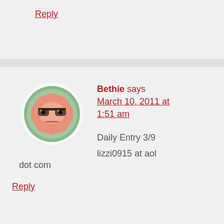Reply
[Figure (illustration): Cartoon avatar: a grumpy-looking hexagonal robot/character face with glasses, salmon/pink color, on a green circular background with white circle border]
Bethie says March 10, 2011 at 1:51 am
Daily Entry 3/9
lizzi0915 at aol dot com
Reply